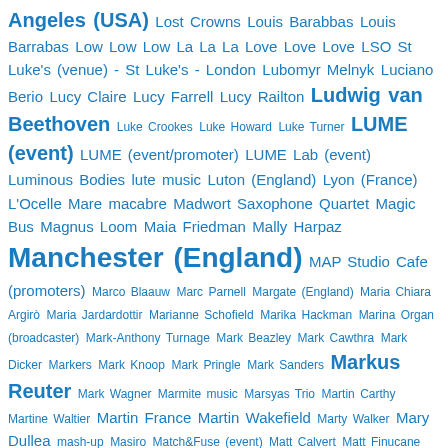Angeles (USA) Lost Crowns Louis Barabbas Louis Barrabas Low Low Low La La La Love Love Love LSO St Luke's (venue) - St Luke's - London Lubomyr Melnyk Luciano Berio Lucy Claire Lucy Farrell Lucy Railton Ludwig van Beethoven Luke Crookes Luke Howard Luke Turner LUME (event) LUME (event/promoter) LUME Lab (event) Luminous Bodies lute music Luton (England) Lyon (France) L'Ocelle Mare macabre Madwort Saxophone Quartet Magic Bus Magnus Loom Maia Friedman Mally Harpaz Manchester (England) MAP Studio Cafe (promoters) Marco Blaauw Marc Parnell Margate (England) Maria Chiara Argirò Maria Jardardottir Marianne Schofield Marika Hackman Marina Organ (broadcaster) Mark-Anthony Turnage Mark Beazley Mark Cawthra Mark Dicker Markers Mark Knoop Mark Pringle Mark Sanders Markus Reuter Mark Wagner Marmite music Marsyas Trio Martin Carthy Martine Waltier Martin France Martin Wakefield Marty Walker Mary Dullea mash-up Masiro Match&Fuse (event) Matt Calvert Matt Finucane Matt Fisher Matt Gasda Matthew Bourne Matthew Cutts Matt Robinson Matt Scott Matt Stevens Maudlin Maladies Maurice Ravel Max Tundra Melanie Woods Melting Hand Memory Of Elephants men and women singing